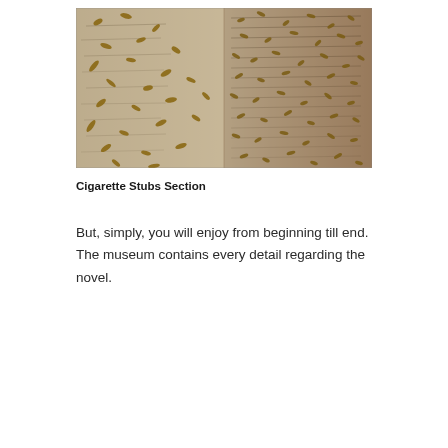[Figure (photo): A wall densely covered with cigarette stubs pinned or attached to a textured surface, with handwritten text visible in the background. The photo has a sepia/warm tone and is taken at an angle.]
Cigarette Stubs Section
But, simply, you will enjoy from beginning till end. The museum contains every detail regarding the novel.